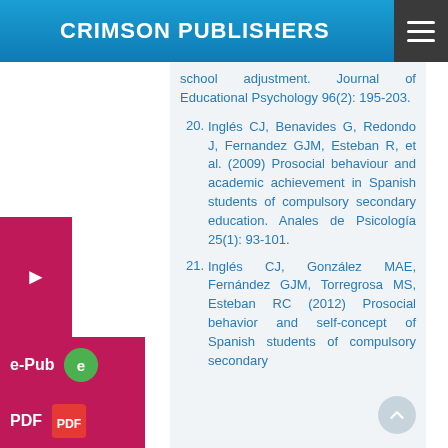CRIMSON PUBLISHERS
school adjustment. Journal of Educational Psychology 96(2): 195-203.
20. Inglés CJ, Benavides G, Redondo J, Fernandez GJM, Esteban R, et al. (2009) Prosocial behaviour and academic achievement in Spanish students of compulsory secondary education. Anales de Psicología 25(1): 93-101.
21. Inglés CJ, González MAE, Fernández GJM, Torregrosa MS, Esteban RC (2012) Prosocial behavior and self-concept of Spanish students of compulsory secondary